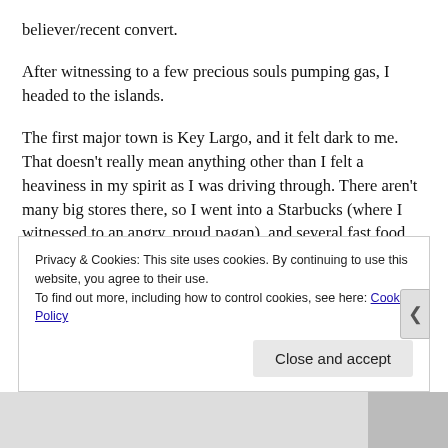believer/recent convert.
After witnessing to a few precious souls pumping gas, I headed to the islands.
The first major town is Key Largo, and it felt dark to me. That doesn’t really mean anything other than I felt a heaviness in my spirit as I was driving through. There aren’t many big stores there, so I went into a Starbucks (where I witnessed to an angry, proud pagan), and several fast food restaurants, gently moving from table to table. I had some takers, some rejectors, and I met a wonderful Christian family from Norway. That was mutually encouraging, since
Privacy & Cookies: This site uses cookies. By continuing to use this website, you agree to their use.
To find out more, including how to control cookies, see here: Cookie Policy